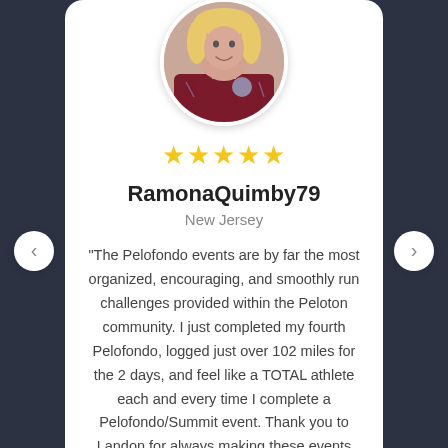[Figure (photo): Circular avatar photo of a person with blonde hair holding a medal, wearing a dark red tank top, with tattoos visible on arms.]
★★★★★
RamonaQuimby79
New Jersey
"The Pelofondo events are by far the most organized, encouraging, and smoothly run challenges provided within the Peloton community. I just completed my fourth Pelofondo, logged just over 102 miles for the 2 days, and feel like a TOTAL athlete each and every time I complete a Pelofondo/Summit event. Thank you to Landon for always making these events so